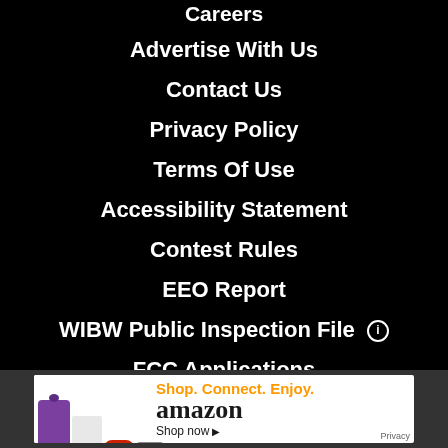Careers
Advertise With Us
Contact Us
Privacy Policy
Terms Of Use
Accessibility Statement
Contest Rules
EEO Report
WIBW Public Inspection File ℹ
FCC Applications
[Figure (other): Amazon advertisement banner: purple cat bag, white device, red sneaker, game controller images on left; orange text 'Shop. Connect. Enjoy.' with 'amazon' logo and 'Shop now' call to action on right; Privacy label bottom right]